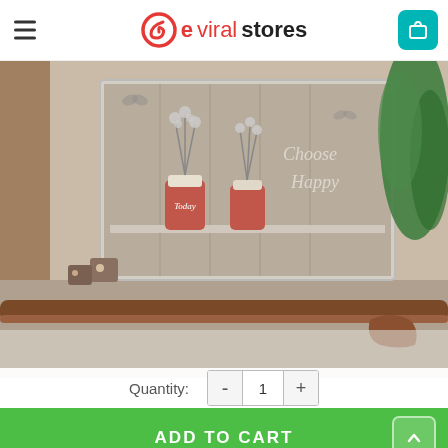eviralstores
[Figure (photo): Wall art canvas print showing mason jars with flowers/branches and text 'Choose Happy Today', hanging on a wall above a wooden railing, with a green fern plant visible to the right.]
Quantity: - 1 +
ADD TO CART